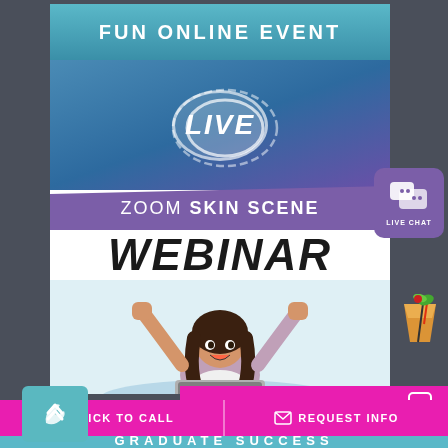FUN ONLINE EVENT
[Figure (infographic): Promotional webinar poster for Zoom Skin Scene Webinar. Contains LIVE badge in circle, purple brush-stroke banner reading ZOOM SKIN SCENE, large WEBINAR text, and photo of excited woman with laptop raising fists.]
ZOOM SKIN SCENE
WEBINAR
[Figure (illustration): Live Chat button icon — purple rounded rectangle with speech bubble icons and LIVE CHAT text]
[Figure (illustration): Tropical cocktail drink illustration — orange drink with straw and garnish]
CHAT LIVE NOW
CLICK TO CALL
REQUEST INFO
GRADUATE SUCCESS